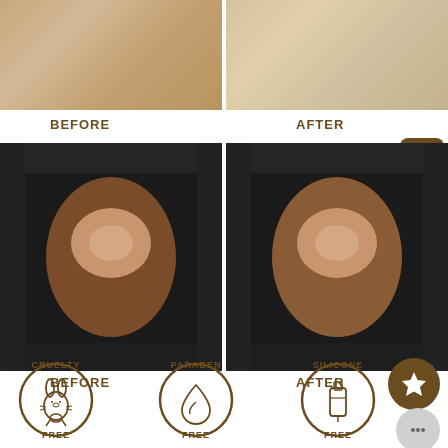[Figure (photo): Before photo top: close-up of skin texture with golden/tan tone]
[Figure (photo): After photo top: close-up of skin texture with lighter, more even tone]
BEFORE
AFTER
[Figure (photo): Before photo bottom: elbow/knee joint showing dark, dry, discolored skin]
[Figure (photo): After photo bottom: same elbow/knee joint showing improved, more even skin tone]
BEFORE
AFTER
[Figure (illustration): Cruelty Free badge - circular badge with rabbit icon]
[Figure (illustration): Paraben Free badge - circular badge with leaf/drop icon]
[Figure (illustration): Silicone Free badge - circular badge with tube icon]